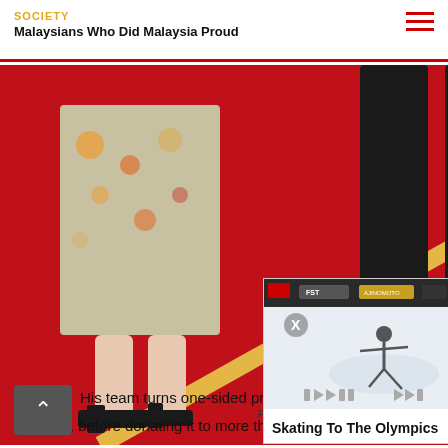SOCIETY
Malaysians Who Did Malaysia Proud
[Figure (photo): Red carpet scene showing lower body of a woman in floral dress with black heels, and a man in dark trousers, standing on a vivid red carpet with a diagonal yellow line]
Photo credit: Getty
[Figure (photo): Ice skating figure performing at a competition rink with sponsor banners including FST and Ajinomoto visible in background]
Skating To The Olympics
His team turns one-sided pri… booklets, before donating it to more than 50 refugee